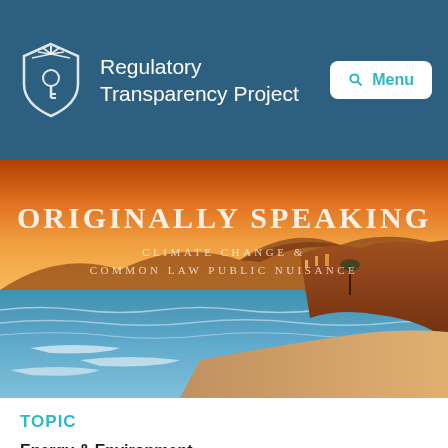Regulatory Transparency Project
[Figure (illustration): Beach sunset scene with coastal cliffs and orange sky. Text overlay reads: ORIGINALLY SPEAKING / CLIMATE CHANGE & COMMON LAW PUBLIC NUISANCE]
TOPIC
Energy & Environment